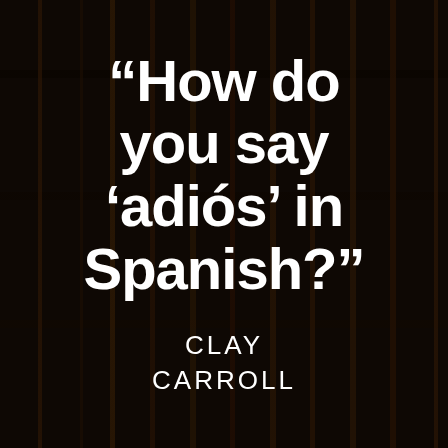[Figure (photo): Dark background photo of a bookshelf filled with books, used as a decorative background image with dark overlay]
“How do you say ‘adiós’ in Spanish?”
CLAY CARROLL